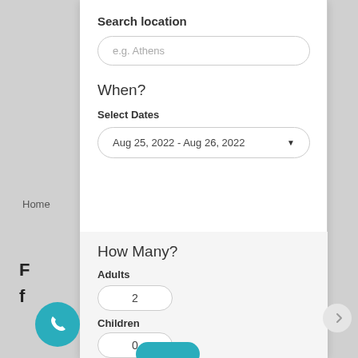Search location
e.g. Athens
When?
Select Dates
Aug 25, 2022 - Aug 26, 2022
How Many?
Adults
2
Children
0